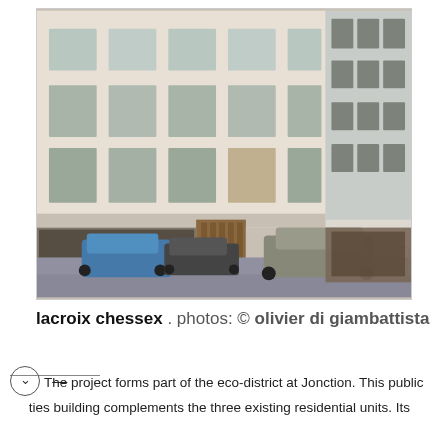[Figure (photo): Exterior photograph of a modern residential/public building with a light beige/cream brick facade, multiple rows of square windows, a ground-floor glazed commercial unit, and two cars parked in front on the street. An adjacent concrete building is partially visible on the right.]
lacroix chessex . photos: © olivier di giambattista
The project forms part of the eco-district at Jonction. This public ties building complements the three existing residential units. Its